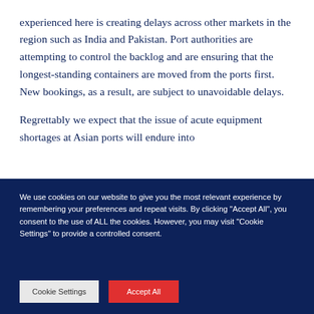experienced here is creating delays across other markets in the region such as India and Pakistan. Port authorities are attempting to control the backlog and are ensuring that the longest-standing containers are moved from the ports first. New bookings, as a result, are subject to unavoidable delays.
Regrettably we expect that the issue of acute equipment shortages at Asian ports will endure into
We use cookies on our website to give you the most relevant experience by remembering your preferences and repeat visits. By clicking "Accept All", you consent to the use of ALL the cookies. However, you may visit "Cookie Settings" to provide a controlled consent.